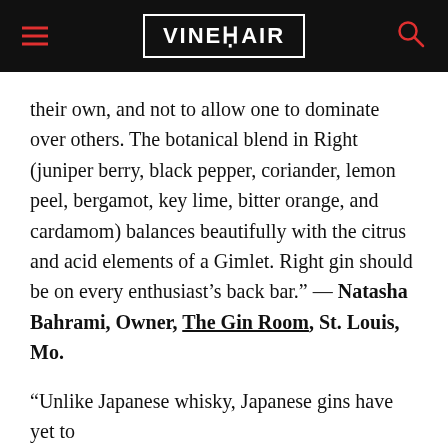VINEPAIR
their own, and not to allow one to dominate over others. The botanical blend in Right (juniper berry, black pepper, coriander, lemon peel, bergamot, key lime, bitter orange, and cardamom) balances beautifully with the citrus and acid elements of a Gimlet. Right gin should be on every enthusiast’s back bar.” — Natasha Bahrami, Owner, The Gin Room, St. Louis, Mo.
“Unlike Japanese whisky, Japanese gins have yet to